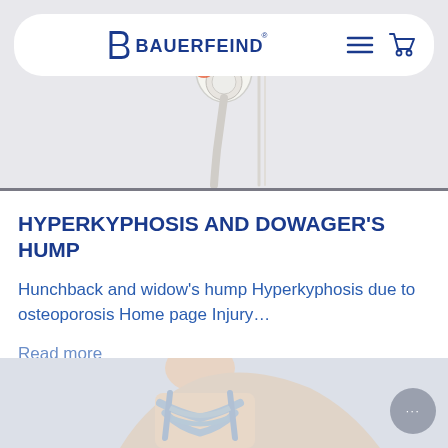[Figure (screenshot): Bauerfeind website screenshot showing navigation bar with Bauerfeind logo, hamburger menu and cart icon, partial medical illustration of hip joint at top, article card for Hyperkyphosis and Dowager's Hump with excerpt text and Read more link, and bottom strip showing person wearing a back brace]
BAUERFEIND®
HYPERKYPHOSIS AND DOWAGER'S HUMP
Hunchback and widow's hump Hyperkyphosis due to osteoporosis Home page Injury…
Read more